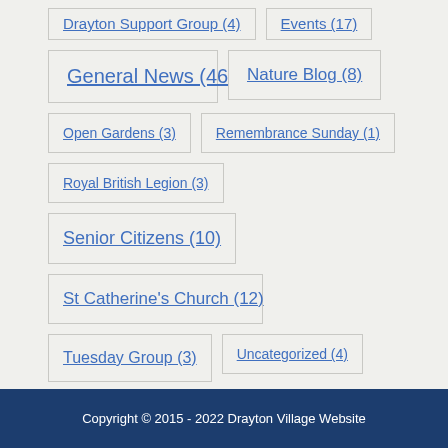Drayton Support Group (4)
Events (17)
General News (46)
Nature Blog (8)
Open Gardens (3)
Remembrance Sunday (1)
Royal British Legion (3)
Senior Citizens (10)
St Catherine's Church (12)
Tuesday Group (3)
Uncategorized (4)
Village Fair (7)
Village Hall (12)
Wassailing (5)
Women's Friendly Society (4)
Copyright © 2015 - 2022 Drayton Village Website